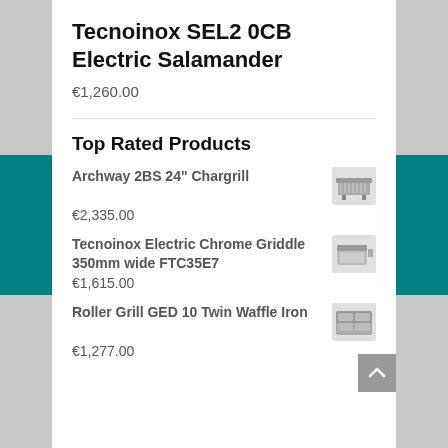Tecnoinox SEL2 0CB Electric Salamander
€1,260.00
Top Rated Products
Archway 2BS 24" Chargrill
€2,335.00
Tecnoinox Electric Chrome Griddle 350mm wide FTC35E7
€1,615.00
Roller Grill GED 10 Twin Waffle Iron
€1,277.00